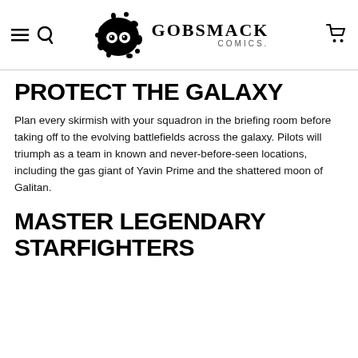Gobsmack Comics
PROTECT THE GALAXY
Plan every skirmish with your squadron in the briefing room before taking off to the evolving battlefields across the galaxy. Pilots will triumph as a team in known and never-before-seen locations, including the gas giant of Yavin Prime and the shattered moon of Galitan.
MASTER LEGENDARY STARFIGHTERS